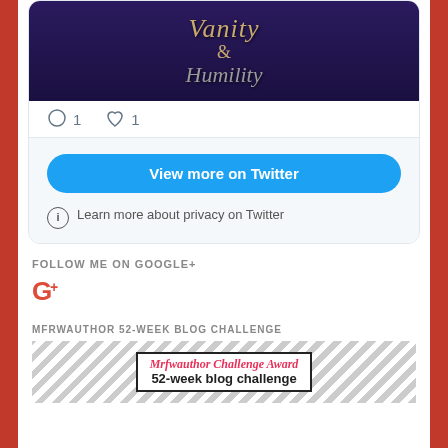[Figure (screenshot): Twitter embedded card showing a book cover image with 'Vanity & Humility' text in gold on dark purple background, with 1 comment and 1 like icons]
View more on Twitter
Learn more about privacy on Twitter
FOLLOW ME ON GOOGLE+
[Figure (logo): Google+ icon in red]
MFRWAUTHOR 52-WEEK BLOG CHALLENGE
[Figure (illustration): 52-week blog challenge banner with diagonal stripe border and text '52-week blog challenge']